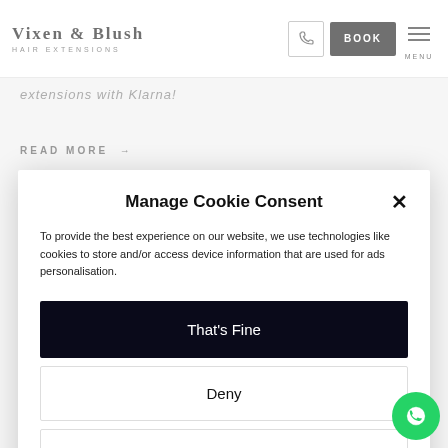VIXEN & BLUSH HAIR EXTENSIONS
extensions with Klarna!
READ MORE →
Manage Cookie Consent
To provide the best experience on our website, we use technologies like cookies to store and/or access device information that are used for ads personalisation.
That's Fine
Deny
View preferences
Privacy Policy